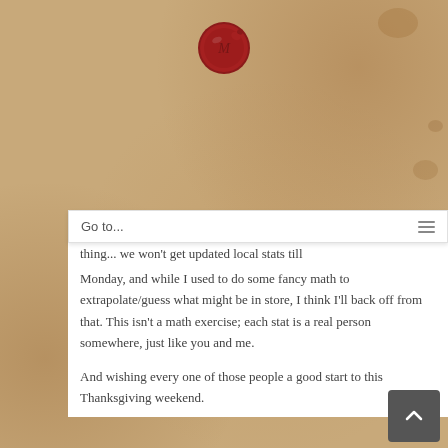[Figure (illustration): Red wax seal on aged parchment/kraft paper background with brown stains and texture]
Go to...
thing... we won't get updated local stats till Monday, and while I used to do some fancy math to extrapolate/guess what might be in store, I think I'll back off from that. This isn't a math exercise; each stat is a real person somewhere, just like you and me.
And wishing every one of those people a good start to this Thanksgiving weekend.